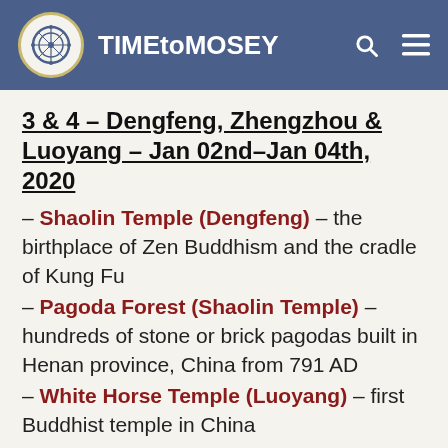TIMEtoMOSEY
3 & 4 – Dengfeng, Zhengzhou & Luoyang – Jan 02nd–Jan 04th, 2020
– Shaolin Temple (Dengfeng) – the birthplace of Zen Buddhism and the cradle of Kung Fu
– Pagoda Forest (Shaolin Temple) – hundreds of stone or brick pagodas built in Henan province, China from 791 AD
– White Horse Temple (Luoyang) – first Buddhist temple in China
– Luoyang Tianzi Jialiu Museum – burial of the royal horse and chariots